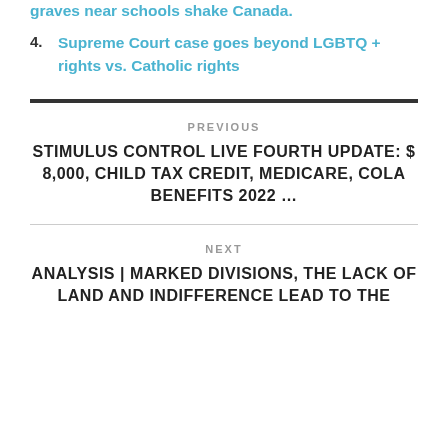graves near schools shake Canada.
4. Supreme Court case goes beyond LGBTQ + rights vs. Catholic rights
PREVIOUS
STIMULUS CONTROL LIVE FOURTH UPDATE: $ 8,000, CHILD TAX CREDIT, MEDICARE, COLA BENEFITS 2022 …
NEXT
ANALYSIS | MARKED DIVISIONS, THE LACK OF LAND AND INDIFFERENCE LEAD TO THE